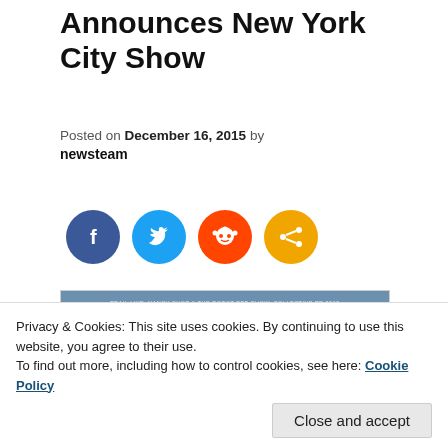Announces New York City Show
Posted on December 16, 2015 by newsteam
[Figure (illustration): Social media share buttons: Facebook (blue circle), Twitter (light blue circle), Reddit (orange circle), Share (amber circle)]
[Figure (photo): Cloudy sky photo with watermark text: TRAIL LIVE, NANCY CHOP & THE ROBOT PEE SHOW. COLLECTIVE PR 2015]
Privacy & Cookies: This site uses cookies. By continuing to use this website, you agree to their use.
To find out more, including how to control cookies, see here: Cookie Policy
Close and accept